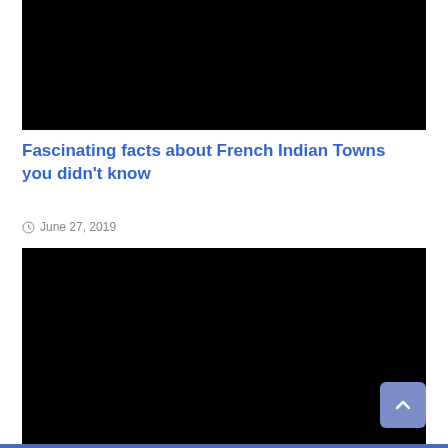[Figure (photo): Black image placeholder at top of article]
Fascinating facts about French Indian Towns you didn't know
June 27, 2019
[Figure (photo): Black image placeholder - main article image]